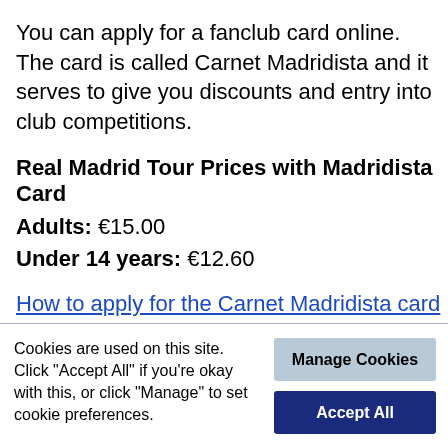You can apply for a fanclub card online. The card is called Carnet Madridista and it serves to give you discounts and entry into club competitions.
Real Madrid Tour Prices with Madridista Card
Adults: €15.00
Under 14 years: €12.60
How to apply for the Carnet Madridista card on the official Real Madrid website.
The Real Madrid museum takes at least 30 minutes to pass through. Don't forget your
Cookies are used on this site. Click "Accept All" if you're okay with this, or click "Manage" to set cookie preferences.